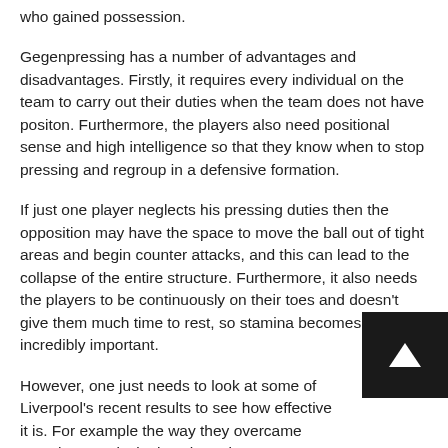who gained possession.
Gegenpressing has a number of advantages and disadvantages. Firstly, it requires every individual on the team to carry out their duties when the team does not have positon. Furthermore, the players also need positional sense and high intelligence so that they know when to stop pressing and regroup in a defensive formation.
If just one player neglects his pressing duties then the opposition may have the space to move the ball out of tight areas and begin counter attacks, and this can lead to the collapse of the entire structure. Furthermore, it also needs the players to be continuously on their toes and doesn't give them much time to rest, so stamina becomes incredibly important.
However, one just needs to look at some of Liverpool's recent results to see how effective it is. For example the way they overcame Manchester City in the Champions League last season. The rest of this season should show just how effective Klopp's system really is.